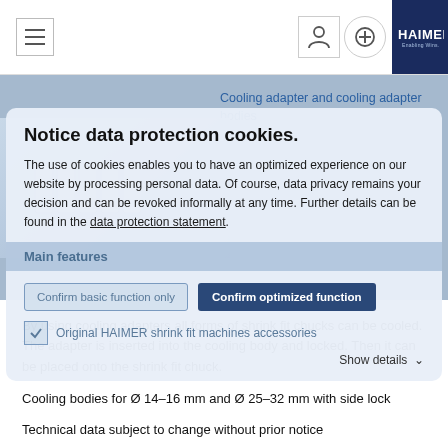Cooling adapter and cooling adapter bodies
Notice data protection cookies.
The use of cookies enables you to have an optimized experience on our website by processing personal data. Of course, data privacy remains your decision and can be revoked informally at any time. Further details can be found in the data protection statement.
Main features
Confirm basic function only   Confirm optimized function
Original HAIMER shrink fit machines accessories
Show details
By using cooling adapters all forms of shrink fit chucks can be cooled. The adapter is inserted into the cooling body and locked. Then it can be placed onto the shrink fit chuck.
Cooling bodies for Ø 14–16 mm and Ø 25–32 mm with side lock
Technical data subject to change without prior notice